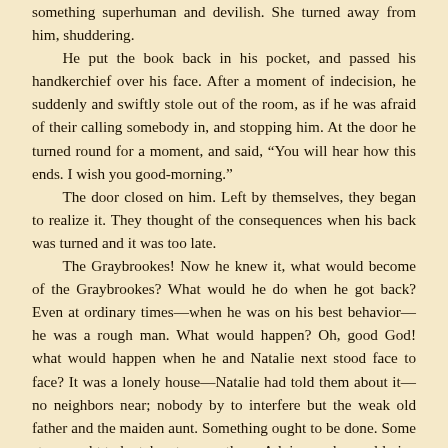something superhuman and devilish. She turned away from him, shuddering.

He put the book back in his pocket, and passed his handkerchief over his face. After a moment of indecision, he suddenly and swiftly stole out of the room, as if he was afraid of their calling somebody in, and stopping him. At the door he turned round for a moment, and said, “You will hear how this ends. I wish you good-morning.”

The door closed on him. Left by themselves, they began to realize it. They thought of the consequences when his back was turned and it was too late.

The Graybrookes! Now he knew it, what would become of the Graybrookes? What would he do when he got back? Even at ordinary times—when he was on his best behavior—he was a rough man. What would happen? Oh, good God! what would happen when he and Natalie next stood face to face? It was a lonely house—Natalie had told them about it—no neighbors near; nobody by to interfere but the weak old father and the maiden aunt. Something ought to be done. Some steps ought to be taken to warn them. Advice—who could give advice? Who was the first person who ought to be told of what had happened? Lady Winwood? No! even at that crisis the sisters still shrank from their stepmother—still hated her with the old hatred! Not a word to her! They owed no duty to her! Who else could they appeal to? To their father? Yes! There was the